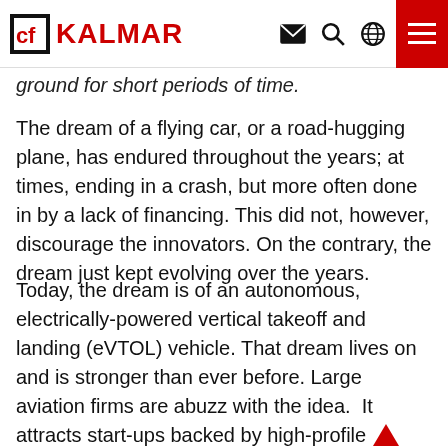KALMAR
ground for short periods of time.
The dream of a flying car, or a road-hugging plane, has endured throughout the years; at times, ending in a crash, but more often done in by a lack of financing. This did not, however, discourage the innovators. On the contrary, the dream just kept evolving over the years.
Today, the dream is of an autonomous, electrically-powered vertical takeoff and landing (eVTOL) vehicle. That dream lives on and is stronger than ever before. Large aviation firms are abuzz with the idea.  It attracts start-ups backed by high-profile businesspeople and